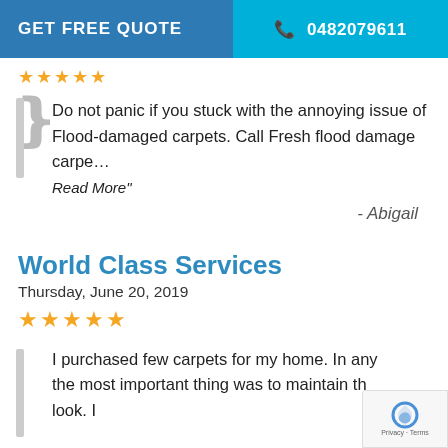GET FREE QUOTE | 0482079611
★★★★★
Do not panic if you stuck with the annoying issue of Flood-damaged carpets. Call Fresh flood damage carpe…
Read More"
- Abigail
World Class Services
Thursday, June 20, 2019
★★★★★
I purchased few carpets for my home. In any the most important thing was to maintain th look. I